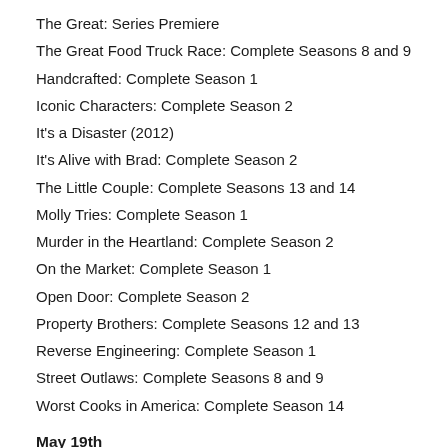The Great: Series Premiere
The Great Food Truck Race: Complete Seasons 8 and 9
Handcrafted: Complete Season 1
Iconic Characters: Complete Season 2
It's a Disaster (2012)
It's Alive with Brad: Complete Season 2
The Little Couple: Complete Seasons 13 and 14
Molly Tries: Complete Season 1
Murder in the Heartland: Complete Season 2
On the Market: Complete Season 1
Open Door: Complete Season 2
Property Brothers: Complete Seasons 12 and 13
Reverse Engineering: Complete Season 1
Street Outlaws: Complete Seasons 8 and 9
Worst Cooks in America: Complete Season 14
May 19th
Like Crazy (2011)